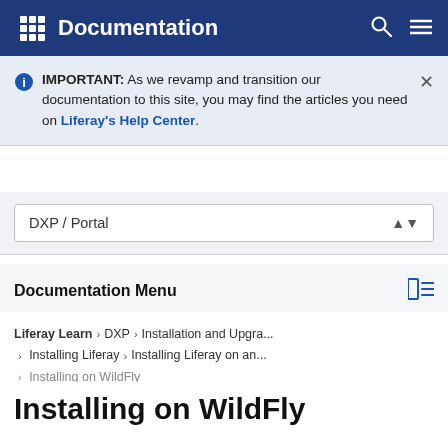Documentation
IMPORTANT: As we revamp and transition our documentation to this site, you may find the articles you need on Liferay's Help Center.
DXP / Portal
Documentation Menu
Liferay Learn > DXP > Installation and Upgra... > Installing Liferay > Installing Liferay on an... > Installing on WildFly
Installing on WildFly